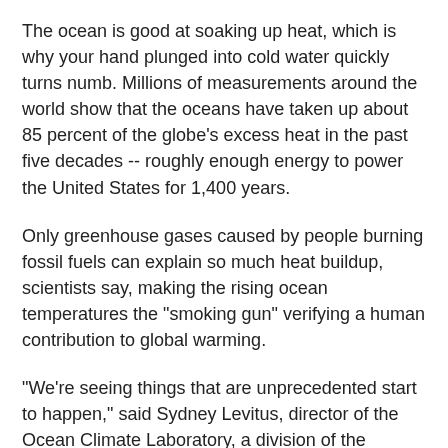The ocean is good at soaking up heat, which is why your hand plunged into cold water quickly turns numb. Millions of measurements around the world show that the oceans have taken up about 85 percent of the globe's excess heat in the past five decades -- roughly enough energy to power the United States for 1,400 years.
Only greenhouse gases caused by people burning fossil fuels can explain so much heat buildup, scientists say, making the rising ocean temperatures the "smoking gun" verifying a human contribution to global warming.
"We're seeing things that are unprecedented start to happen," said Sydney Levitus, director of the Ocean Climate Laboratory, a division of the National Oceanic and Atmospheric Administration.
The Pacific Ocean has absorbed about a quarter of the heat. Trade winds blowing west hold heat in the tropics around Indonesia. But new research shows those winds have weakened slightly in the past century and will ebb further as